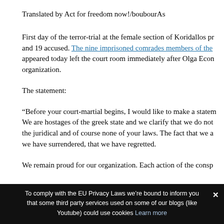Translated by Act for freedom now!/boubourAs
First day of the terror-trial at the female section of Koridallos pr and 19 accused. The nine imprisoned comrades members of the appeared today left the court room immediately after Olga Econ organization.
The statement:
“Before your court-martial begins, I would like to make a statem We are hostages of the greek state and we clarify that we do not the juridical and of course none of your laws. The fact that we a we have surrendered, that we have regretted.
We remain proud for our organization. Each action of the consp
To comply with the EU Privacy Laws we’re bound to inform you that some third party services used on some of our blogs (like Youtube) could use cookies Learn more